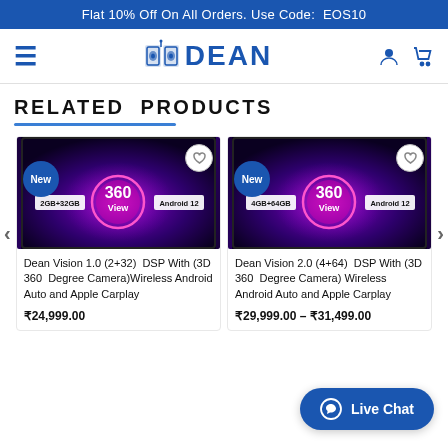Flat 10% Off On All Orders. Use Code: EOS10
[Figure (logo): DEAN brand logo with speaker icon and navigation bar with hamburger menu, user icon, and cart icon]
RELATED  PRODUCTS
[Figure (photo): Dean Vision 1.0 car stereo product image showing 360 View, 2GB+32GB, Android 12 badges on a dark purple background with New badge]
Dean Vision 1.0 (2+32)  DSP With (3D 360  Degree Camera)Wireless Android Auto and Apple Carplay
₹24,999.00
[Figure (photo): Dean Vision 2.0 car stereo product image showing 360 View, 4GB+64GB, Android 12 badges on a dark purple background with New badge]
Dean Vision 2.0 (4+64)  DSP With (3D 360  Degree Camera) Wireless Android Auto and Apple Carplay
₹29,999.00 – ₹31,499.00
Live Chat